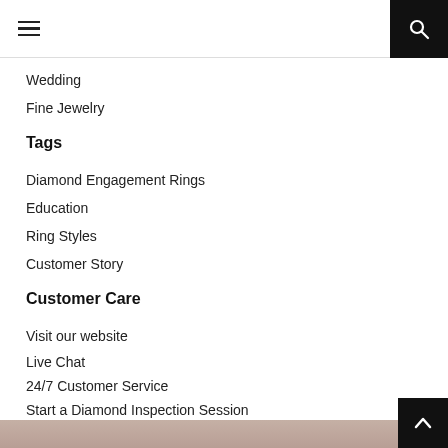Navigation header with hamburger menu and search
Wedding
Fine Jewelry
Tags
Diamond Engagement Rings
Education
Ring Styles
Customer Story
Customer Care
Visit our website
Live Chat
24/7 Customer Service
Start a Diamond Inspection Session
[Figure (other): Social media icons: Facebook, Instagram, YouTube, Pinterest, LinkedIn, Twitter, TikTok]
[Figure (photo): Partial image of a woman at the bottom of the page]